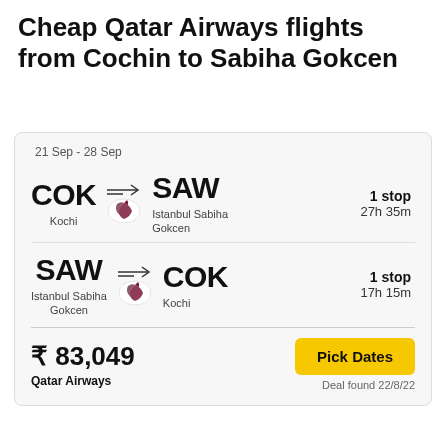Cheap Qatar Airways flights from Cochin to Sabiha Gokcen
21 Sep - 28 Sep
COK → SAW
Kochi → Istanbul Sabiha Gokcen
1 stop
27h 35m
SAW → COK
Istanbul Sabiha Gokcen → Kochi
1 stop
17h 15m
₹ 83,049
Qatar Airways
Pick Dates
Deal found 22/8/22